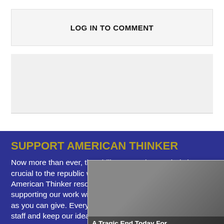LOG IN TO COMMENT
[Figure (other): Advertisement banner placeholder]
SUPPORT AMERICAN THINKER
Now more than ever, the ability to speak our minds is crucial to the republic we cherish. If what you see on American Thinker resonates with you, please consider supporting our work with a donation of as much or as little as you can give. Every dollar contributed helps us pay our staff and keep our ideas heard and our voices
Thank
[Figure (other): Popup overlay with two sponsored content cards: 'A Tragic End Today For Willie Nelson - Breaking News' and 'Dems Raid Mar-A-Lago when They Should b... - Infected', with a close button (X)]